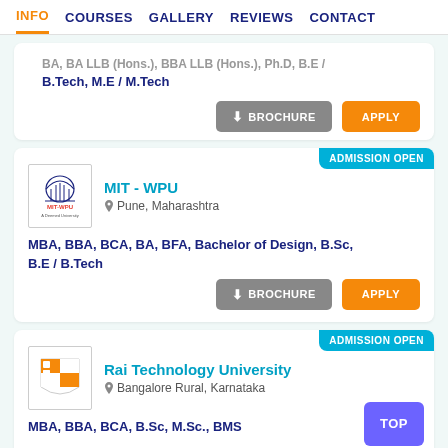INFO  COURSES  GALLERY  REVIEWS  CONTACT
BA, BA LLB (Hons.), BBA LLB (Hons.), Ph.D, B.E / B.Tech, M.E / M.Tech
BROCHURE  APPLY
ADMISSION OPEN
MIT - WPU
Pune, Maharashtra
MBA, BBA, BCA, BA, BFA, Bachelor of Design, B.Sc, B.E / B.Tech
BROCHURE  APPLY
ADMISSION OPEN
Rai Technology University
Bangalore Rural, Karnataka
MBA, BBA, BCA, B.Sc, M.Sc., BMS
TOP